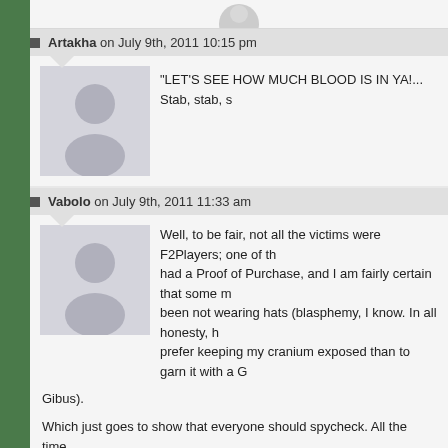Artakha on July 9th, 2011 10:15 pm
"LET'S SEE HOW MUCH BLOOD IS IN YA!... Stab, stab, s
Vabolo on July 9th, 2011 11:33 am
Well, to be fair, not all the victims were F2Players; one of th... had a Proof of Purchase, and I am fairly certain that some m... been not wearing hats (blasphemy, I know. In all honesty, h... prefer keeping my cranium exposed than to garn it with a G... Gibus).

Which just goes to show that everyone should spycheck. All the time. sometimes, just turning yourself around once in a while to make sure... following you can save your life from a roguish backslasher.
RemielChibus on July 9th, 2011 1:57 pm
Ghastly Gibus is a pro-only hat.